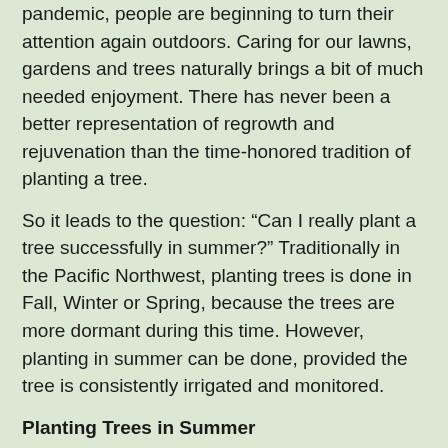pandemic, people are beginning to turn their attention again outdoors. Caring for our lawns, gardens and trees naturally brings a bit of much needed enjoyment. There has never been a better representation of regrowth and rejuvenation than the time-honored tradition of planting a tree.
So it leads to the question: “Can I really plant a tree successfully in summer?” Traditionally in the Pacific Northwest, planting trees is done in Fall, Winter or Spring, because the trees are more dormant during this time. However, planting in summer can be done, provided the tree is consistently irrigated and monitored.
Planting Trees in Summer
The danger with planting a tree in summer is that when you plant a tree, at any time, it puts a lot of stress on the tree. Your new tree is in an unfamiliar environment and hasn’t established its roots to the extent that a mature tree has.